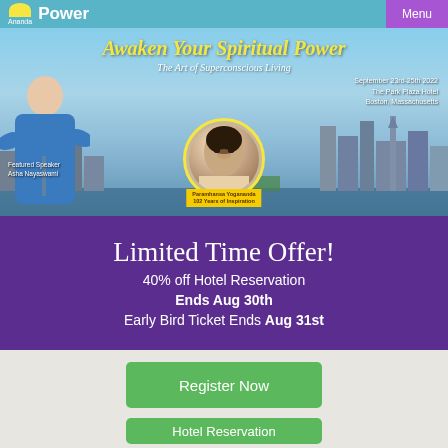Ananda  Power  Menu
[Figure (photo): Event promotional banner showing city skyline of Boston, featured speaker Asha Nayaswami, and circular portrait of Paramhansa Yogananda with ribbon. Title: Awaken Your Spiritual Power – The Art of Superconscious Living. Date: September 23rd-25th 2022, The Park Plaza Hotel, Boston, Massachusetts.]
Limited Time Offer!
40% off Hotel Reservation
Ends Aug 30th
Early Bird Ticket Ends Aug 31st
Register Now
Hotel Reservation